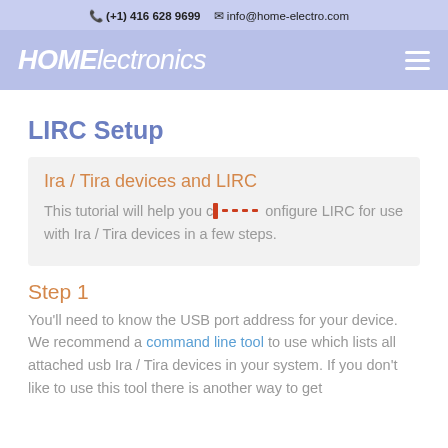(+1) 416 628 9699  info@home-electro.com
[Figure (logo): HOMElectronics logo with hamburger menu icon]
LIRC Setup
Ira / Tira devices and LIRC
This tutorial will help you configure LIRC for use with Ira / Tira devices in a few steps.
Step 1
You'll need to know the USB port address for your device. We recommend a command line tool to use which lists all attached usb Ira / Tira devices in your system. If you don't like to use this tool there is another way to get